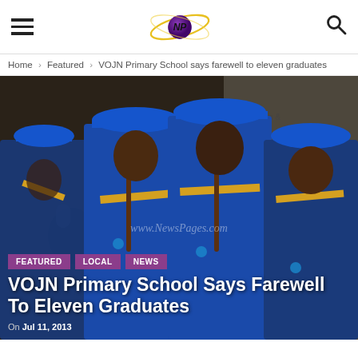NP logo with hamburger menu and search icon
Home > Featured > VOJN Primary School says farewell to eleven graduates
[Figure (photo): Students in blue graduation gowns and caps playing recorders/flutes at a ceremony. Watermark: www.NewsPagesOnline.com. Tags: FEATURED, LOCAL, NEWS. Title: VOJN Primary School Says Farewell To Eleven Graduates. Date: On Jul 11, 2013]
VOJN Primary School Says Farewell To Eleven Graduates
On Jul 11, 2013